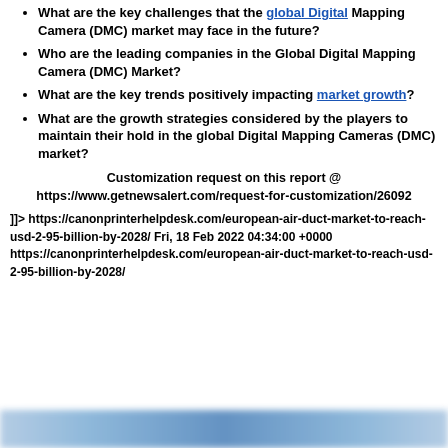What are the key challenges that the global Digital Mapping Camera (DMC) market may face in the future?
Who are the leading companies in the Global Digital Mapping Camera (DMC) Market?
What are the key trends positively impacting market growth?
What are the growth strategies considered by the players to maintain their hold in the global Digital Mapping Cameras (DMC) market?
Customization request on this report @ https://www.getnewsalert.com/request-for-customization/26092
]]> https://canonprinterhelpdesk.com/european-air-duct-market-to-reach-usd-2-95-billion-by-2028/ Fri, 18 Feb 2022 04:34:00 +0000 https://canonprinterhelpdesk.com/european-air-duct-market-to-reach-usd-2-95-billion-by-2028/
[Figure (other): Blurred blue/grey banner at the bottom of the page]